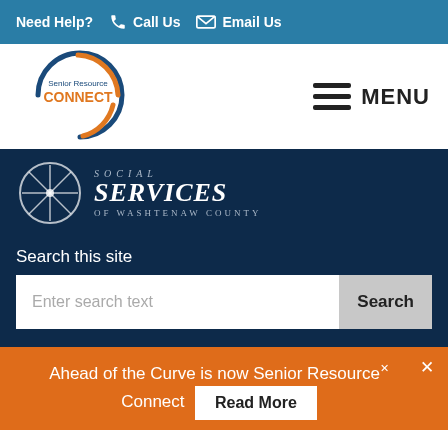Need Help? Call Us  Email Us
[Figure (logo): Senior Resource Connect circular logo with orange and blue arc]
MENU
[Figure (logo): Social Services of Washtenaw County wheel logo with text]
Search this site
Enter search text
Search
Ahead of the Curve is now Senior Resource Connect  Read More